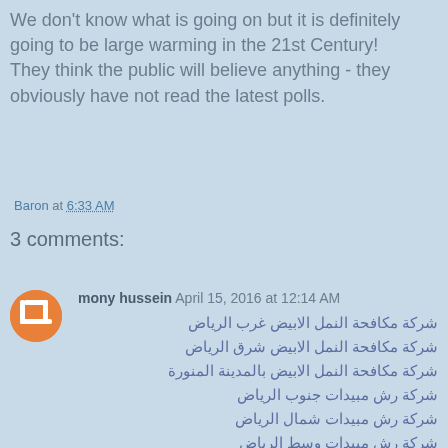We don't know what is going on but it is definitely going to be large warming in the 21st Century!
They think the public will believe anything - they obviously have not read the latest polls.
Baron at 6:33 AM
3 comments:
mony hussein April 15, 2016 at 12:14 AM
شركة مكافحة النمل الابيض غرب الرياض
شركة مكافحة النمل الابيض شرق الرياض
شركة مكافحة النمل الابيض بالمدينة المنورة
شركة رش مبيدات جنوب الرياض
شركة رش مبيدات شمال الرياض
شركة رش مبيدات وسط الرياض
شركة رش مبيدات غرب الرياض
شركة رش مبيدات شرق الرياض
شركة مكافحة حشرات جنوب الرياض
شركة مكافحة حشرات شمال الرياض